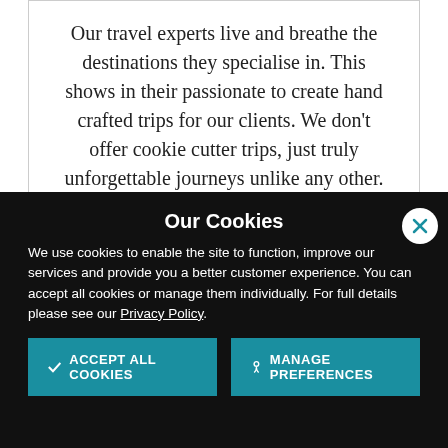Our travel experts live and breathe the destinations they specialise in. This shows in their passionate to create hand crafted trips for our clients. We don't offer cookie cutter trips, just truly unforgettable journeys unlike any other.
Our Cookies
We use cookies to enable the site to function, improve our services and provide you a better customer experience. You can accept all cookies or manage them individually. For full details please see our Privacy Policy.
ACCEPT ALL COOKIES
MANAGE PREFERENCES